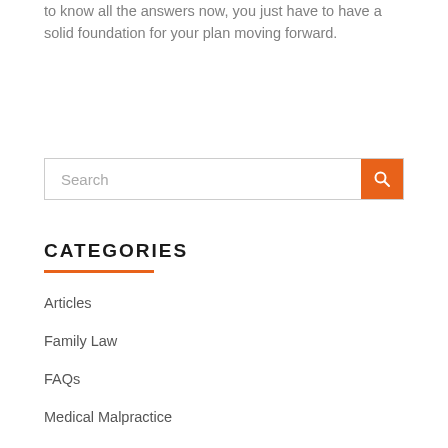to know all the answers now, you just have to have a solid foundation for your plan moving forward.
[Figure (screenshot): Search input field with orange search button on right]
CATEGORIES
Articles
Family Law
FAQs
Medical Malpractice